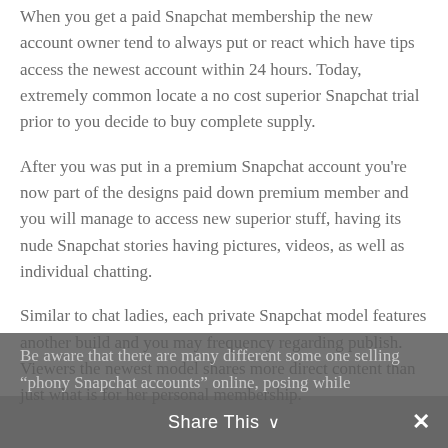When you get a paid Snapchat membership the new account owner tend to always put or react which have tips access the newest account within 24 hours. Today, extremely common locate a no cost superior Snapchat trial prior to you decide to buy complete supply.
After you was put in a premium Snapchat account you’re now part of the designs paid down premium member and you will manage to access new superior stuff, having its nude Snapchat stories having pictures, videos, as well as individual chatting.
Similar to chat ladies, each private Snapchat model features another build and you may frequency regarding publish. Viewers the newest model shares more direct content than just what is for her personal membership.
Be aware that there are many different some one selling “phony Snapchat accounts” online, posing while
Share This